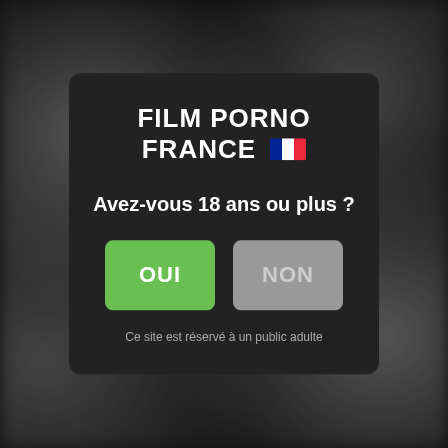[Figure (screenshot): Blurred dark background showing website content behind a modal overlay]
FILM PORNO FRANCE
Avez-vous 18 ans ou plus ?
OUI
NON
Ce site est réservé à un public adulte